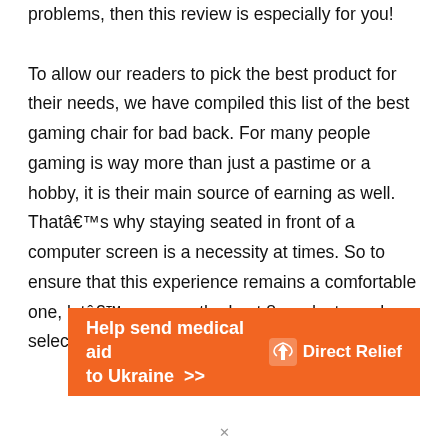problems, then this review is especially for you!

To allow our readers to pick the best product for their needs, we have compiled this list of the best gaming chair for bad back. For many people gaming is way more than just a pastime or a hobby, it is their main source of earning as well. Thatâs why staying seated in front of a computer screen is a necessity at times. So to ensure that this experience remains a comfortable one, letâs go over the best 8 products we have selected.
[Figure (other): Orange advertisement banner for Direct Relief: 'Help send medical aid to Ukraine >>' with Direct Relief logo on the right]